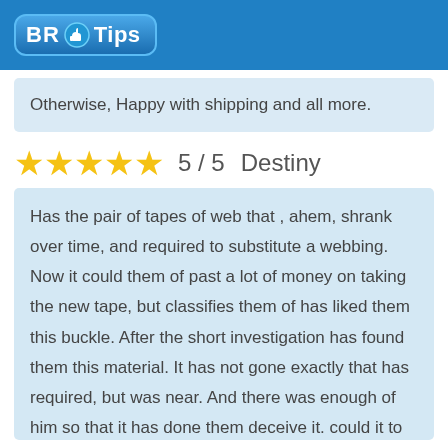BR Tips
Otherwise, Happy with shipping and all more.
5 / 5   Destiny
Has the pair of tapes of web that , ahem, shrank over time, and required to substitute a webbing. Now it could them of past a lot of money on taking the new tape, but classifies them of has liked them this buckle. After the short investigation has found them this material. It has not gone exactly that has required, but was near. And there was enough of him so that it has done them deceive it. could it to